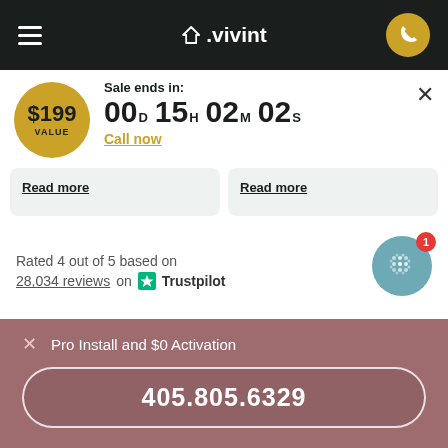vivint
Sale ends in:
00D 15H 02M 02S
Call now
$199 VALUE
Read more
Read more
Rated 4 out of 5 based on 28,034 reviews on Trustpilot
Pro Install and $0 Activation
405.805.6329